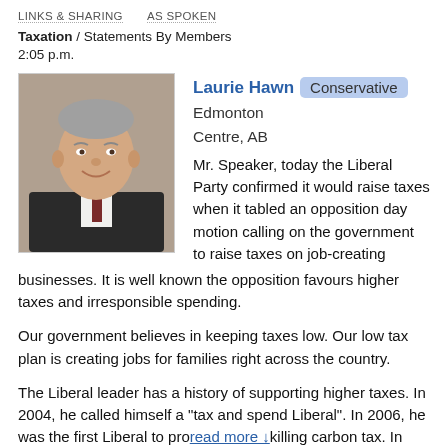LINKS & SHARING   AS SPOKEN
Taxation / Statements By Members
2:05 p.m.
[Figure (photo): Portrait photo of Laurie Hawn, a smiling middle-aged man in a dark suit with white shirt and tie, grey hair.]
Laurie Hawn  Conservative  Edmonton Centre, AB
Mr. Speaker, today the Liberal Party confirmed it would raise taxes when it tabled an opposition day motion calling on the government to raise taxes on job-creating businesses. It is well known the opposition favours higher taxes and irresponsible spending.
Our government believes in keeping taxes low. Our low tax plan is creating jobs for families right across the country.
The Liberal leader has a history of supporting higher taxes. In 2004, he called himself a "tax and spend Liberal". In 2006, he was the first Liberal to pro read more ↓ killing carbon tax. In 2008.